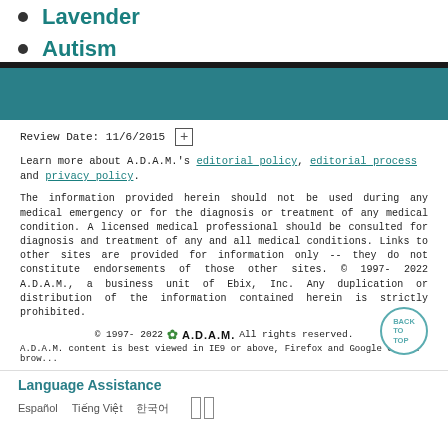Lavender
Autism
Review Date: 11/6/2015
Learn more about A.D.A.M.'s editorial policy, editorial process and privacy policy.
The information provided herein should not be used during any medical emergency or for the diagnosis or treatment of any medical condition. A licensed medical professional should be consulted for diagnosis and treatment of any and all medical conditions. Links to other sites are provided for information only -- they do not constitute endorsements of those other sites. © 1997- 2022 A.D.A.M., a business unit of Ebix, Inc. Any duplication or distribution of the information contained herein is strictly prohibited.
© 1997- 2022 A.D.A.M. All rights reserved. A.D.A.M. content is best viewed in IE9 or above, Firefox and Google Chrome brow...
Language Assistance
Español   Tiếng Việt   한국어